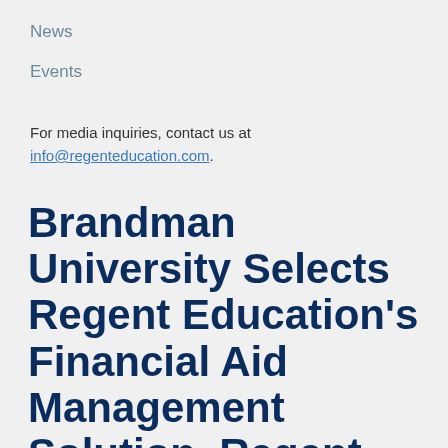News
Events
For media inquiries, contact us at info@regenteducation.com.
Brandman University Selects Regent Education's Financial Aid Management Solution, Regent Award, as they transition to Competency Based